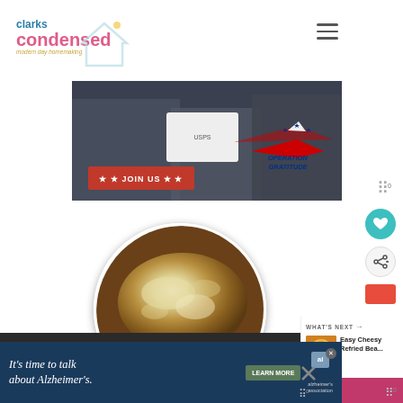Clarks Condensed - modern day homemaking
[Figure (photo): Operation Gratitude banner with military personnel handing a box, JOIN US button in red, Operation Gratitude logo]
[Figure (photo): Circular food photo showing a baked dish with cheese/mashed topping in a brown baking dish]
[Figure (photo): WHAT'S NEXT thumbnail for Easy Cheesy Refried Bea...]
[Figure (advertisement): Alzheimer's association ad: It's time to talk about Alzheimer's. LEARN MORE button.]